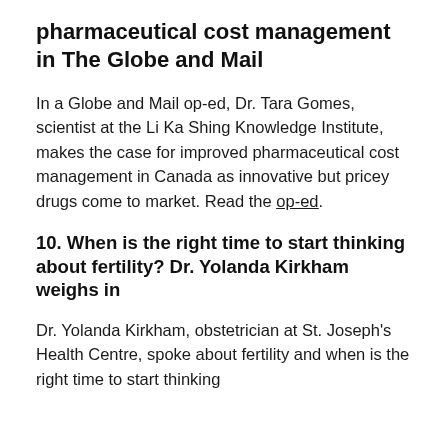pharmaceutical cost management in The Globe and Mail
In a Globe and Mail op-ed, Dr. Tara Gomes, scientist at the Li Ka Shing Knowledge Institute, makes the case for improved pharmaceutical cost management in Canada as innovative but pricey drugs come to market. Read the op-ed.
10. When is the right time to start thinking about fertility? Dr. Yolanda Kirkham weighs in
Dr. Yolanda Kirkham, obstetrician at St. Joseph's Health Centre, spoke about fertility and when is the right time to start thinking